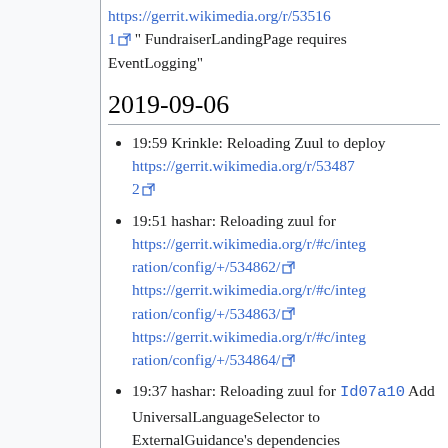https://gerrit.wikimedia.org/r/535161 " FundraiserLandingPage requires EventLogging"
2019-09-06
19:59 Krinkle: Reloading Zuul to deploy https://gerrit.wikimedia.org/r/534872
19:51 hashar: Reloading zuul for https://gerrit.wikimedia.org/r/#c/integration/config/+/534862/ https://gerrit.wikimedia.org/r/#c/integration/config/+/534863/ https://gerrit.wikimedia.org/r/#c/integration/config/+/534864/
19:37 hashar: Reloading zuul for Id07a10 Add UniversalLanguageSelector to ExternalGuidance's dependencies